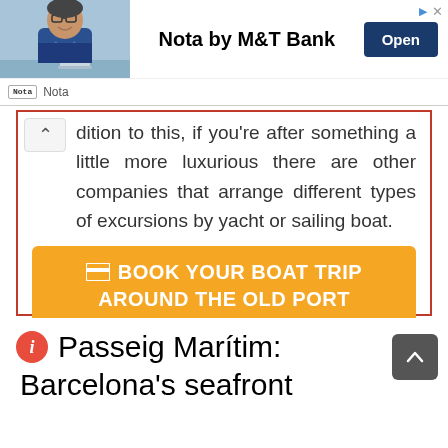[Figure (screenshot): Advertisement banner for Nota by M&T Bank with photo of man in glasses, Open button, and Nota logo/label]
dition to this, if you're after something a little more luxurious there are other companies that arrange different types of excursions by yacht or sailing boat.
BOOK YOUR BOAT TRIP AROUND THE OLD PORT
ℹ Passeig Marítim: Barcelona's seafront